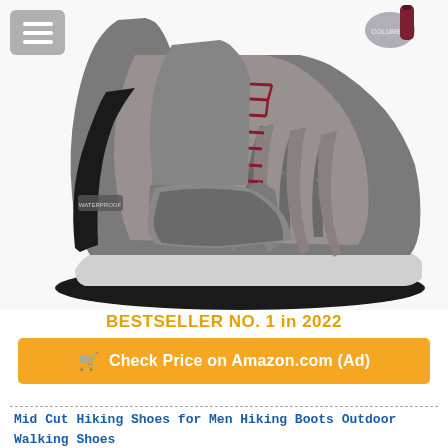[Figure (photo): A Columbia mid-cut hiking boot in grey/charcoal with dark red/burgundy laces and accents, black rubber toe cap and sole, shown from a three-quarter front angle on white background.]
BESTSELLER NO. 1 in 2022
🛒 Check Price on Amazon.com (Ad)
Mid Cut Hiking Shoes for Men Hiking Boots Outdoor Walking Shoes Color Khaki Size 10.5